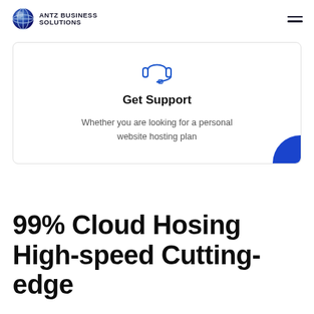ANTZ BUSINESS SOLUTIONS
[Figure (illustration): Headset/support icon outline in blue]
Get Support
Whether you are looking for a personal website hosting plan
99% Cloud Hosing High-speed Cutting-edge